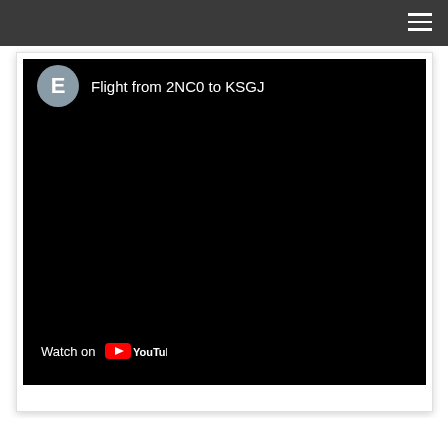[Figure (screenshot): YouTube video embed showing 'Flight from 2NC0 to KSGJ' with a black video frame, a circular avatar with letter E, and a Watch on YouTube overlay bar at the bottom left.]